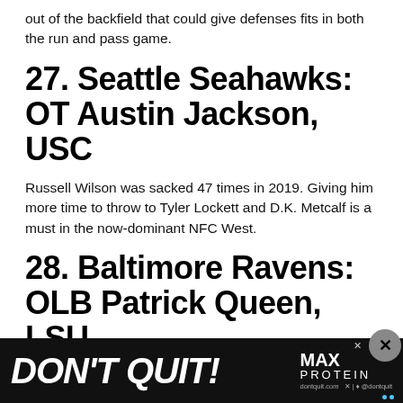out of the backfield that could give defenses fits in both the run and pass game.
27. Seattle Seahawks: OT Austin Jackson, USC
Russell Wilson was sacked 47 times in 2019. Giving him more time to throw to Tyler Lockett and D.K. Metcalf is a must in the now-dominant NFC West.
28. Baltimore Ravens: OLB Patrick Queen, LSU
The Ravens have very similar problems to the Saints withh one good outside linebacker but no quality starter on the other side. Matthew Judon was a real
[Figure (other): Advertisement banner: DON'T QUIT! MAX PROTEIN brand ad on black background with close button]